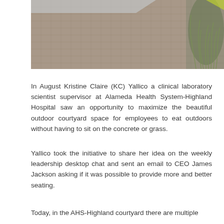[Figure (photo): Outdoor courtyard area with brick paving and ornamental grasses, viewed from above at an angle. A light-colored stripe or walkway cuts across the upper left portion of the image.]
In August Kristine Claire (KC) Yallico a clinical laboratory scientist supervisor at Alameda Health System-Highland Hospital saw an opportunity to maximize the beautiful outdoor courtyard space for employees to eat outdoors without having to sit on the concrete or grass.
Yallico took the initiative to share her idea on the weekly leadership desktop chat and sent an email to CEO James Jackson asking if it was possible to provide more and better seating.
Today, in the AHS-Highland courtyard there are multiple